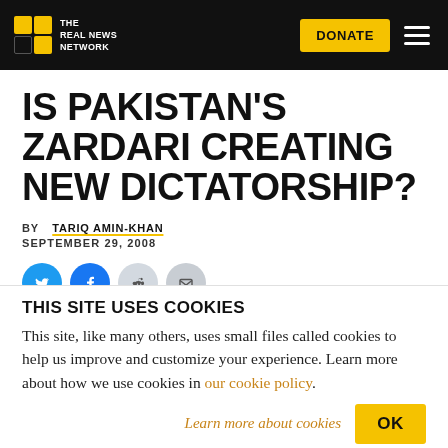The Real News Network
IS PAKISTAN'S ZARDARI CREATING NEW DICTATORSHIP?
BY TARIQ AMIN-KHAN
SEPTEMBER 29, 2008
[Figure (infographic): Social sharing icons: Twitter, Facebook, Reddit, Email]
THIS SITE USES COOKIES
This site, like many others, uses small files called cookies to help us improve and customize your experience. Learn more about how we use cookies in our cookie policy.
Learn more about cookies  OK